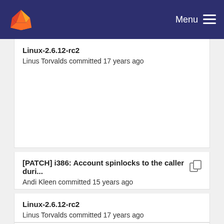GitLab — Menu
Linux-2.6.12-rc2
Linus Torvalds committed 17 years ago
[PATCH] i386: Account spinlocks to the caller duri...
Andi Kleen committed 15 years ago
Linux-2.6.12-rc2
Linus Torvalds committed 17 years ago
[PATCH] i386: Account spinlocks to the caller duri...
Andi Kleen committed 15